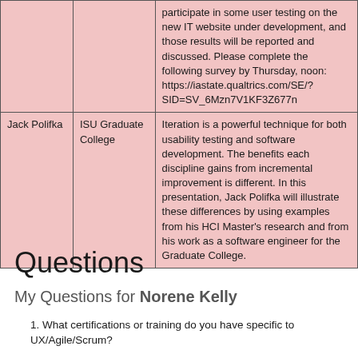|  |  |  |
| --- | --- | --- |
|  |  | participate in some user testing on the new IT website under development, and those results will be reported and discussed. Please complete the following survey by Thursday, noon: https://iastate.qualtrics.com/SE/?SID=SV_6Mzn7V1KF3Z677n |
| Jack Polifka | ISU Graduate College | Iteration is a powerful technique for both usability testing and software development. The benefits each discipline gains from incremental improvement is different. In this presentation, Jack Polifka will illustrate these differences by using examples from his HCI Master's research and from his work as a software engineer for the Graduate College. |
Questions
My Questions for Norene Kelly
1. What certifications or training do you have specific to UX/Agile/Scrum?